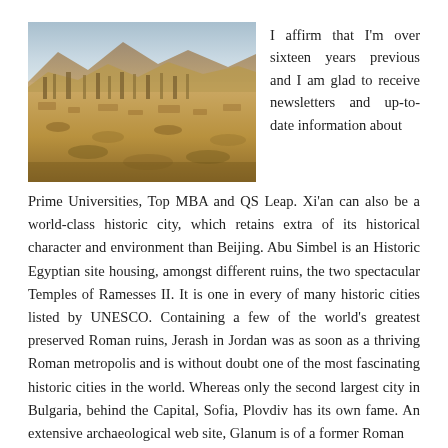[Figure (photo): Aerial or wide-angle view of ancient ruins in a desert landscape, likely Palmyra or a similar historic Middle Eastern site, with sandy terrain, scattered stone columns and structures, and mountains in the background under a clear sky.]
I affirm that I'm over sixteen years previous and I am glad to receive newsletters and up-to-date information about Prime Universities, Top MBA and QS Leap. Xi'an can also be a world-class historic city, which retains extra of its historical character and environment than Beijing. Abu Simbel is an Historic Egyptian site housing, amongst different ruins, the two spectacular Temples of Ramesses II. It is one in every of many historic cities listed by UNESCO. Containing a few of the world's greatest preserved Roman ruins, Jerash in Jordan was as soon as a thriving Roman metropolis and is without doubt one of the most fascinating historic cities in the world. Whereas only the second largest city in Bulgaria, behind the Capital, Sofia, Plovdiv has its own fame. An extensive archaeological web site, Glanum is of a former Roman